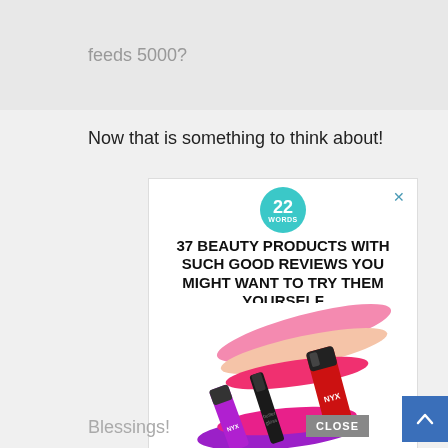feeds 5000?
Now that is something to think about!
[Figure (screenshot): Advertisement screenshot showing '22 Words' badge logo, headline '37 BEAUTY PRODUCTS WITH SUCH GOOD REVIEWS YOU MIGHT WANT TO TRY THEM YOURSELF', and colorful lip gloss/lipstick products with pink, peach, red, magenta and purple color swatches. A CLOSE button appears at bottom right.]
Blessings!